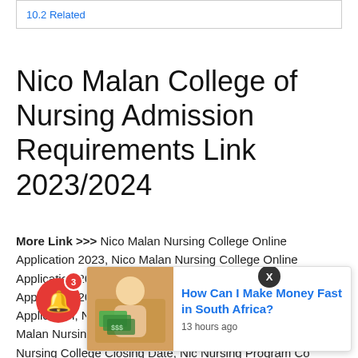10.2 Related
Nico Malan College of Nursing Admission Requirements Link 2023/2024
More Link >>> Nico Malan Nursing College Online Application 2023, Nico Malan Nursing College Online Application 2023, Nico Malan Nursing College Online Application 2023, Nico Malan Nursing College Online Application, Nico Malan Nursing College Requirements, Nico Malan Nursing College Admission Requirements, Nico Malan Nursing College Closing Date, Nic Nursing Program Cost, Nico Malan Nursing College 2023/2024, comple... Prospectus Handbook... calendar 2023, Nico Malan Nursing College Almanac 2023, Nico Malan Nursing College Fees 2023/2024, Nico Malan Nursing College
[Figure (other): Ad overlay showing 'How Can I Make Money Fast in South Africa?' with money image, 13 hours ago, and notification bell with badge 3]